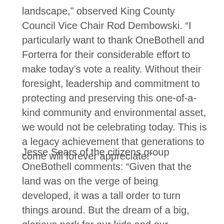landscape,” observed King County Council Vice Chair Rod Dembowski. “I particularly want to thank OneBothell and Forterra for their considerable effort to make today’s vote a reality. Without their foresight, leadership and commitment to protecting and preserving this one-of-a-kind community and environmental asset, we would not be celebrating today. This is a legacy achievement that generations to come will forever appreciate.”
Jesse Sears of the citizens group OneBothell comments: “Given that the land was on the verge of being developed, it was a tall order to turn things around. But the dream of a big, glorious park for our kids and our community kept us fired up from the start to the finish. It’s going to be tremendously exciting to